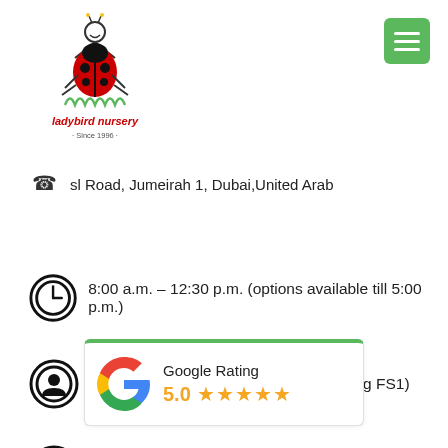[Figure (logo): Ladybird Nursery logo with cartoon ladybird character and text 'ladybird nursery · Since 1996 ·']
sl Road, Jumeirah 1, Dubai, United Arab
8:00 a.m. – 12:30 p.m. (options available till 5:00 p.m.)
Ages from 6 months to 4 years (including FS1)
Our impact on your child
[Figure (infographic): Google Rating card showing 5.0 rating with 5 orange stars and Google G logo]